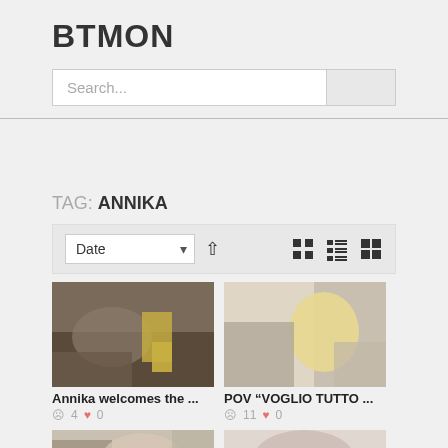BTMON
Search...
TAG: ANNIKA
Date (sort control with view icons)
[Figure (photo): Video thumbnail 1 - explicit adult content]
Annika welcomes the ...
4  0
[Figure (photo): Video thumbnail 2 - explicit adult content]
POV "VOGLIO TUTTO ...
11  0
[Figure (photo): Video thumbnail 3 - partial, bottom of page]
[Figure (photo): Video thumbnail 4 - partial, bottom of page]